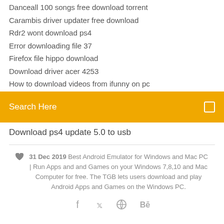Danceall 100 songs free download torrent
Carambis driver updater free download
Rdr2 wont download ps4
Error downloading file 37
Firefox file hippo download
Download driver acer 4253
How to download videos from ifunny on pc
[Figure (screenshot): Orange search bar with 'Search Here' placeholder text and a search icon on the right]
Download ps4 update 5.0 to usb
31 Dec 2019 Best Android Emulator for Windows and Mac PC | Run Apps and and Games on your Windows 7,8,10 and Mac Computer for free. The TGB lets users download and play Android Apps and Games on the Windows PC.
[Figure (other): Social media icons: Facebook, Twitter, a circular icon, and Behance]